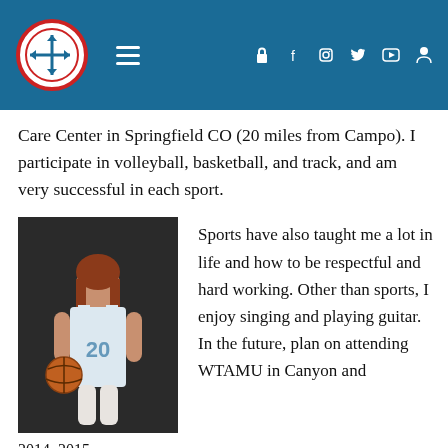[Navigation header with logo, menu icon, and social media icons]
Care Center in Springfield CO (20 miles from Campo). I participate in volleyball, basketball, and track, and am very successful in each sport.
[Figure (photo): Young woman in basketball uniform number 20 holding a basketball]
2014–2015
Basketball
Sports have also taught me a lot in life and how to be respectful and hard working. Other than sports, I enjoy singing and playing guitar. In the future, plan on attending WTAMU in Canyon and